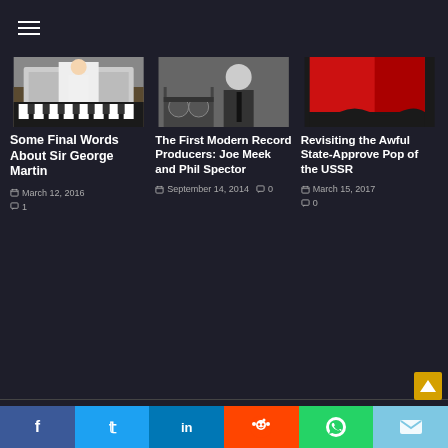☰ (hamburger menu)
[Figure (photo): Person at piano, appears to be George Martin]
Some Final Words About Sir George Martin
March 12, 2016  · 1 comment
[Figure (photo): Black and white photo of a man in a suit standing next to recording equipment]
The First Modern Record Producers: Joe Meek and Phil Spector
September 14, 2014  · 0 comments
[Figure (photo): Red curtain or flag, appears to be Soviet imagery]
Revisiting the Awful State-Approve Pop of the USSR
March 15, 2017  · 0 comments